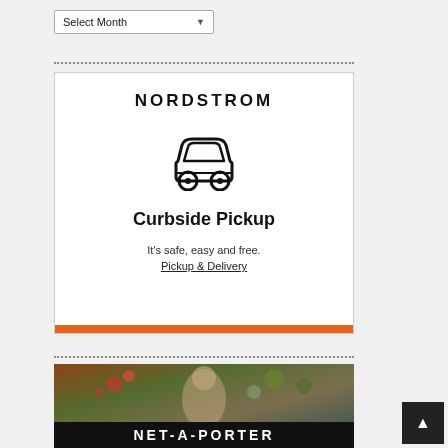Select Month
[Figure (illustration): Nordstrom Curbside Pickup promotional card with car icon, bold title 'Curbside Pickup', tagline 'It's safe, easy and free.', link 'Pickup & Delivery', and orange bottom bar]
[Figure (photo): Net-A-Porter promotional image showing a woman surrounded by flowers and plants, with NET-A-PORTER branding on a dark bar at the bottom]